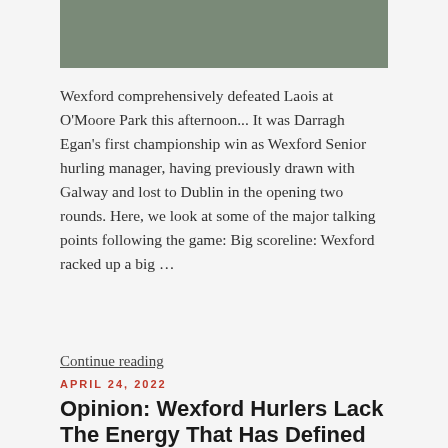[Figure (photo): Cropped sports photo showing hurling player in purple/white jersey holding a hurley, green grass in background]
Wexford comprehensively defeated Laois at O'Moore Park this afternoon... It was Darragh Egan's first championship win as Wexford Senior hurling manager, having previously drawn with Galway and lost to Dublin in the opening two rounds. Here, we look at some of the major talking points following the game: Big scoreline: Wexford racked up a big …
Continue reading
APRIL 24, 2022
Opinion: Wexford Hurlers Lack The Energy That Has Defined Their Past